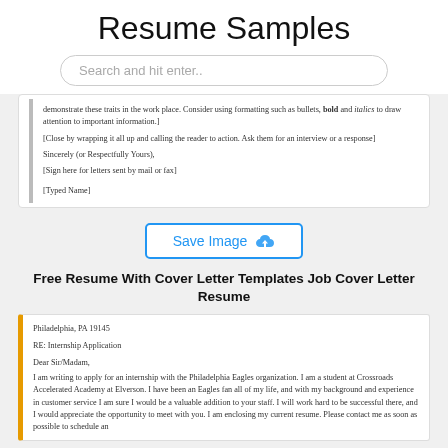Resume Samples
Search and hit enter..
demonstrate these traits in the work place. Consider using formatting such as bullets, bold and italics to draw attention to important information.]

[Close by wrapping it all up and calling the reader to action. Ask them for an interview or a response]

Sincerely (or Respectfully Yours),

[Sign here for letters sent by mail or fax]

[Typed Name]
[Figure (screenshot): Save Image button with cloud upload icon]
Free Resume With Cover Letter Templates Job Cover Letter Resume
Philadelphia, PA 19145

RE: Internship Application

Dear Sir/Madam,

I am writing to apply for an internship with the Philadelphia Eagles organization. I am a student at Crossroads Accelerated Academy at Elverson. I have been an Eagles fan all of my life, and with my background and experience in customer service I am sure I would be a valuable addition to your staff. I will work hard to be successful there, and I would appreciate the opportunity to meet with you. I am enclosing my current resume. Please contact me as soon as possible to schedule an